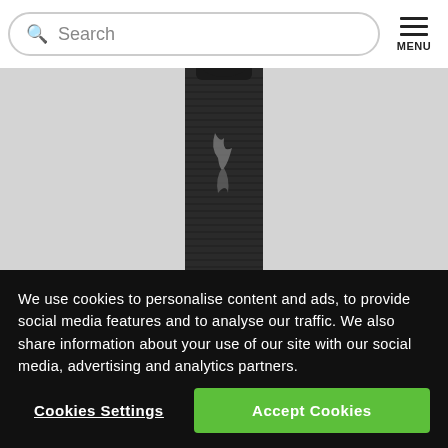Search | MENU
[Figure (photo): A dark matte black ridged water bottle with a logo on the front and a loop cap, photographed against a light grey background.]
We use cookies to personalise content and ads, to provide social media features and to analyse our traffic. We also share information about your use of our site with our social media, advertising and analytics partners.
Cookies Settings | Accept Cookies